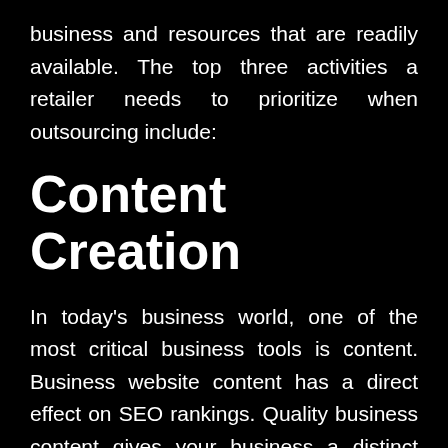business and resources that are readily available. The top three activities a retailer needs to prioritize when outsourcing include:
Content Creation
In today's business world, one of the most critical business tools is content. Business website content has a direct effect on SEO rankings. Quality business content gives your business a distinct competitive advantage. However, regular and consistent content creation requires a lot of time, research, wide knowledge of e-commerce, fundamental